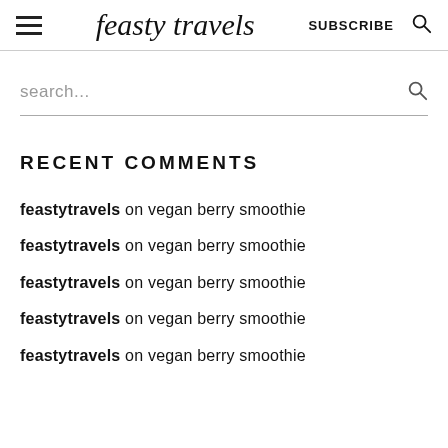feasty travels | SUBSCRIBE
search...
RECENT COMMENTS
feastytravels on vegan berry smoothie
feastytravels on vegan berry smoothie
feastytravels on vegan berry smoothie
feastytravels on vegan berry smoothie
feastytravels on vegan berry smoothie